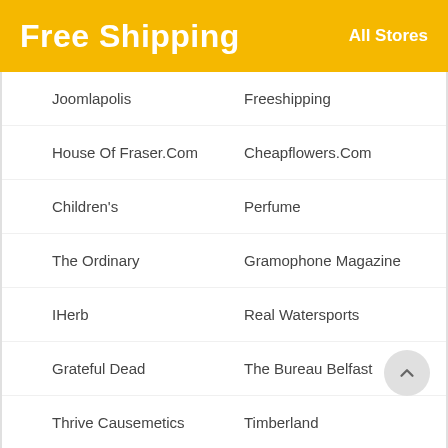Free Shipping
All Stores
Joomlapolis
Freeshipping
House Of Fraser.Com
Cheapflowers.Com
Children's
Perfume
The Ordinary
Gramophone Magazine
IHerb
Real Watersports
Grateful Dead
The Bureau Belfast
Thrive Causemetics
Timberland
Toms
Too Faced